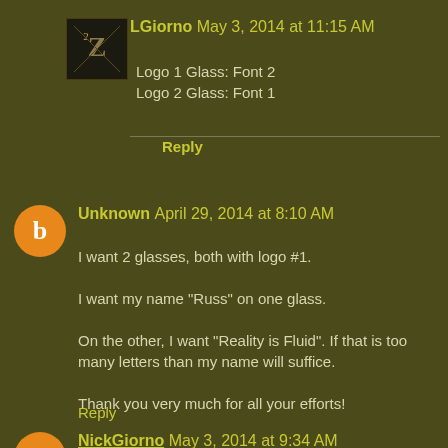LGiorno May 3, 2014 at 11:15 AM
Logo 1 Glass: Font 2
Logo 2 Glass: Font 1
Reply
Unknown April 29, 2014 at 8:10 AM
I want 2 glasses, both with logo #1.

I want my name "Russ" on one glass.

On the other, I want "Reality is Fluid". If that is too many letters than my name will suffice.

Thank you very much for all your efforts!
Reply
NickGiorno May 3, 2014 at 9:34 AM